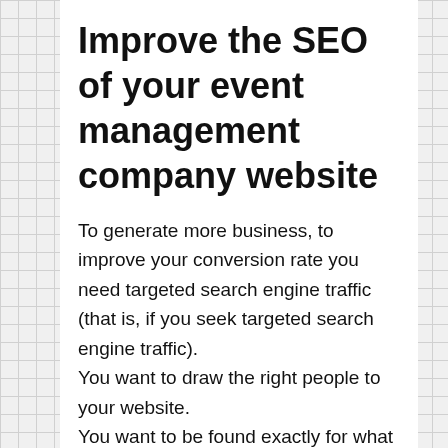Improve the SEO of your event management company website
To generate more business, to improve your conversion rate you need targeted search engine traffic (that is, if you seek targeted search engine traffic).
You want to draw the right people to your website.
You want to be found exactly for what people are looking.